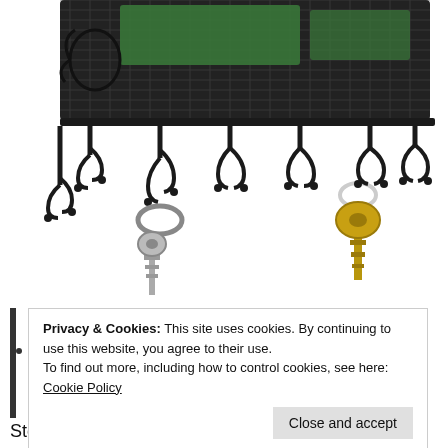[Figure (photo): A black metal mesh wall-mounted key holder with decorative scroll design and 7 double hooks. Two sets of keys are hanging from the hooks — a set of silver keys on a keyring on one hook, and a single brass/gold key on another hook. Green items visible in the mesh basket at top.]
Privacy & Cookies: This site uses cookies. By continuing to use this website, you agree to their use.
To find out more, including how to control cookies, see here: Cookie Policy
Close and accept
Storage is my last product review. It features a large